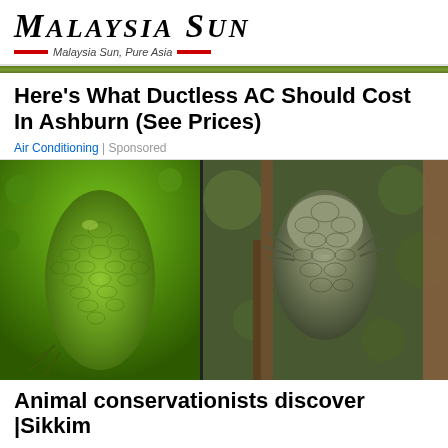Malaysia Sun — Malaysia Sun, Pure Asia
Here's What Ductless AC Should Cost In Ashburn (See Prices)
Air Conditioning | Sponsored
[Figure (photo): Two close-up photographs of reptiles side by side: left image shows a green lizard/gecko viewed from above with visible scales, right image shows a dark grey reptile (lizard or snake) head viewed from above with textured scales, climbing on branches with green foliage in background.]
Animal conservationists discover |Sikkim